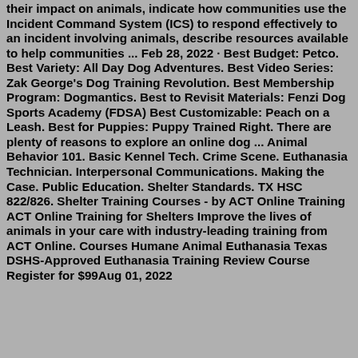their impact on animals, indicate how communities use the Incident Command System (ICS) to respond effectively to an incident involving animals, describe resources available to help communities ... Feb 28, 2022 · Best Budget: Petco. Best Variety: All Day Dog Adventures. Best Video Series: Zak George's Dog Training Revolution. Best Membership Program: Dogmantics. Best to Revisit Materials: Fenzi Dog Sports Academy (FDSA) Best Customizable: Peach on a Leash. Best for Puppies: Puppy Trained Right. There are plenty of reasons to explore an online dog ... Animal Behavior 101. Basic Kennel Tech. Crime Scene. Euthanasia Technician. Interpersonal Communications. Making the Case. Public Education. Shelter Standards. TX HSC 822/826. Shelter Training Courses - by ACT Online Training ACT Online Training for Shelters Improve the lives of animals in your care with industry-leading training from ACT Online. Courses Humane Animal Euthanasia Texas DSHS-Approved Euthanasia Training Review Course Register for $99Aug 01, 2022